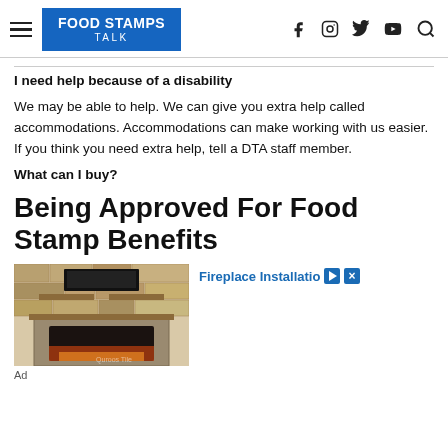FOOD STAMPS TALK
I need help because of a disability
We may be able to help. We can give you extra help called accommodations. Accommodations can make working with us easier. If you think you need extra help, tell a DTA staff member.
What can I buy?
Being Approved For Food Stamp Benefits
[Figure (photo): Advertisement showing a stone fireplace with built-in shelves and a wall-mounted TV above a linear gas fireplace insert.]
Fireplace Installation
Ad